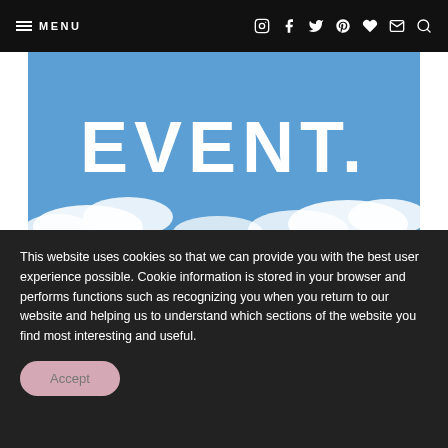≡ MENU
[Figure (photo): Sky blue banner image with large white bold text reading 'EVENT.' and white clouds at bottom]
leave a comment
This website uses cookies so that we can provide you with the best user experience possible. Cookie information is stored in your browser and performs functions such as recognizing you when you return to our website and helping us to understand which sections of the website you find most interesting and useful.
Accept